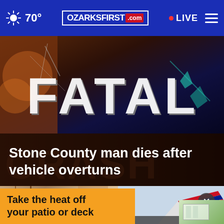70° | OZARKSFIRST.com | LIVE
[Figure (photo): News graphic showing the word FATAL in large distressed white letters over a dark crash-themed background, with headline 'Stone County man dies after vehicle overturns']
Stone County man dies after vehicle overturns
[Figure (photo): Two thumbnail images: left shows an indoor scene, right shows an American Airlines plane tail]
[Figure (infographic): Orange advertisement banner reading 'Take the heat off your patio or deck']